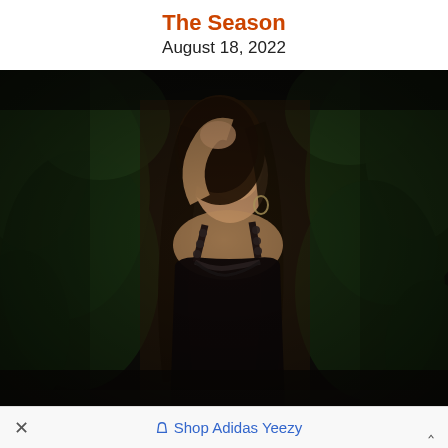The Season
August 18, 2022
[Figure (photo): A woman in a black spaghetti-strap dress with floral lace trim stands outdoors at night, one hand raised behind her head, looking upward. Dense dark green foliage forms the background.]
× ◇ Shop Adidas Yeezy ∧